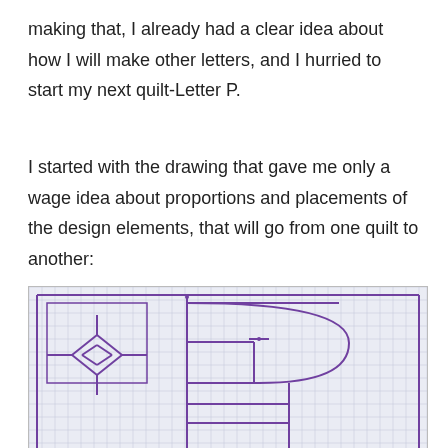making that, I already had a clear idea about how I will make other letters, and I hurried to start my next quilt-Letter P.
I started with the drawing that gave me only a wage idea about proportions and placements of the design elements, that will go from one quilt to another:
[Figure (illustration): Hand-drawn sketch on grid/graph paper showing a quilt design with a letter P shape on the right side (with a semicircular bump) and a diamond/star medallion shape on the left, drawn in purple ink on light blue grid paper.]